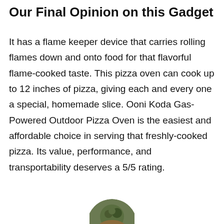Our Final Opinion on this Gadget
It has a flame keeper device that carries rolling flames down and onto food for that flavorful flame-cooked taste. This pizza oven can cook up to 12 inches of pizza, giving each and every one a special, homemade slice. Ooni Koda Gas-Powered Outdoor Pizza Oven is the easiest and affordable choice in serving that freshly-cooked pizza. Its value, performance, and transportability deserves a 5/5 rating.
[Figure (photo): Partial circular photo of a person at the bottom center of the page]